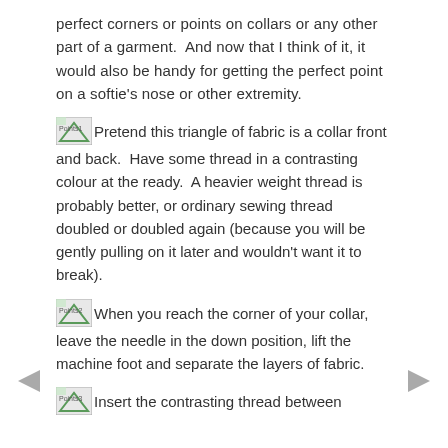perfect corners or points on collars or any other part of a garment.  And now that I think of it, it would also be handy for getting the perfect point on a softie's nose or other extremity.
[Points1 image] Pretend this triangle of fabric is a collar front and back.  Have some thread in a contrasting colour at the ready.  A heavier weight thread is probably better, or ordinary sewing thread doubled or doubled again (because you will be gently pulling on it later and wouldn't want it to break).
[Points2 image] When you reach the corner of your collar, leave the needle in the down position, lift the machine foot and separate the layers of fabric.
[Points3 image] Insert the contrasting thread between
[Figure (illustration): Left navigation arrow (grey)]
[Figure (illustration): Right navigation arrow (grey)]